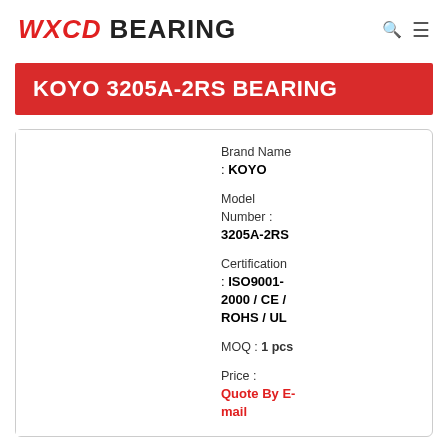WXCD BEARING
KOYO 3205A-2RS BEARING
Brand Name : KOYO
Model Number : 3205A-2RS
Certification : ISO9001-2000 / CE / ROHS / UL
MOQ : 1 pcs
Price : Quote By E-mail